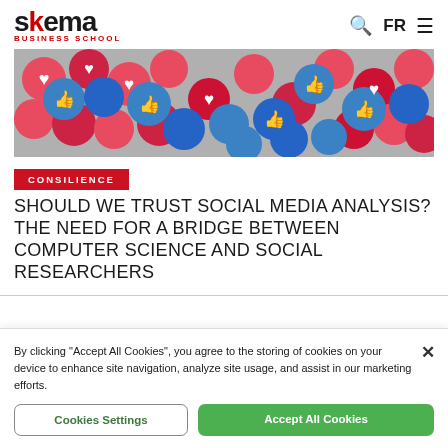skema BUSINESS SCHOOL — FR
[Figure (photo): Colorful collage of red and blue social media reaction buttons including hearts and thumbs-up icons]
CONSILIENCE
SHOULD WE TRUST SOCIAL MEDIA ANALYSIS? THE NEED FOR A BRIDGE BETWEEN COMPUTER SCIENCE AND SOCIAL RESEARCHERS
By clicking "Accept All Cookies", you agree to the storing of cookies on your device to enhance site navigation, analyze site usage, and assist in our marketing efforts.
Cookies Settings
Accept All Cookies